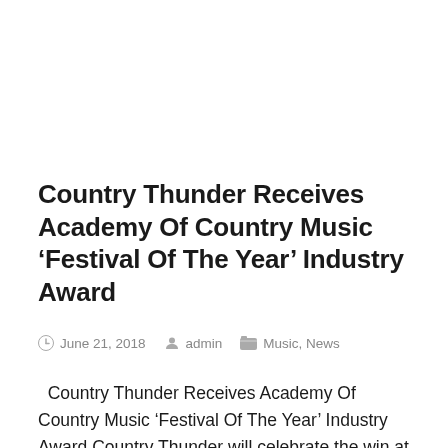Country Thunder Receives Academy Of Country Music ‘Festival Of The Year’ Industry Award
June 21, 2018   admin   Music, News
Country Thunder Receives Academy Of Country Music ‘Festival Of The Year’ Industry Award Country Thunder will celebrate the win at 12th Annual ACM Honors™ Wednesday, August 22, 2018 at Nashville’s